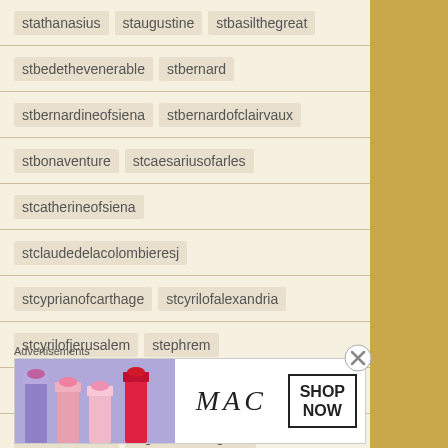stathanasius   staugustine   stbasilthegreat
stbedethevenerable   stbernard
stbernardineofsiena   stbernardofclairvaux
stbonaventure   stcaesariusofarles
stcatherineofsiena
stclaudedelacolombieresj
stcyprianofcarthage   stcyrilofalexandria
stcyrilofjerusalem   stephrem
stfrancisdesales   STFRANCISOFASSISI
stfrancisxavier   stgertrudethegreat
Advertisements
[Figure (photo): MAC cosmetics advertisement showing lipsticks with SHOP NOW call to action]